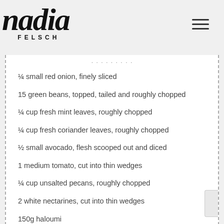[Figure (logo): Nadia Felsch script logo with hamburger menu icon]
¼ small red onion, finely sliced
15 green beans, topped, tailed and roughly chopped
¼ cup fresh mint leaves, roughly chopped
¼ cup fresh coriander leaves, roughly chopped
½ small avocado, flesh scooped out and diced
1 medium tomato, cut into thin wedges
¼ cup unsalted pecans, roughly chopped
2 white nectarines, cut into thin wedges
150g haloumi
Butter, to cook
Drizzle of extra virgin olive oil, to taste
Dash of caramelised vinegar, to taste